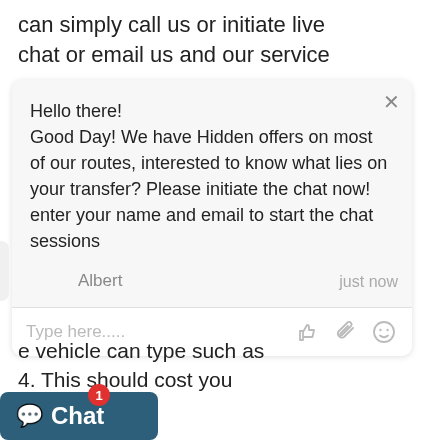can simply call us or initiate live chat or email us and our service
[Figure (screenshot): Live chat widget popup showing a welcome message from Albert saying 'Hello there! Good Day! We have Hidden offers on most of our routes, interested to know what lies on your transfer? Please initiate the chat now! enter your name and email to start the chat sessions', with agent avatar, name 'Albert', timestamp 'just now', and a text input area with Type here..... placeholder and icons for thumbs up, attachment, and emoji.]
e vehicle can type such as 4. This should cost you
[Figure (screenshot): Chat button in bottom left with speech bubble icon, labeled 'Chat' and a red notification badge showing '1']